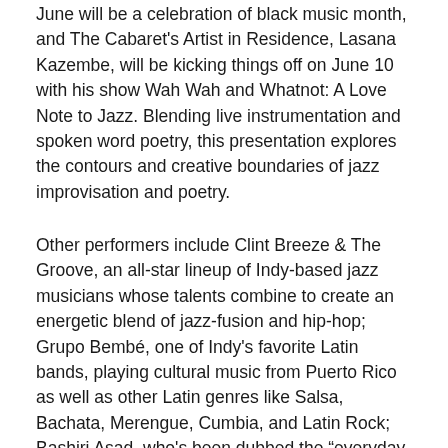June will be a celebration of black music month, and The Cabaret's Artist in Residence, Lasana Kazembe, will be kicking things off on June 10 with his show Wah Wah and Whatnot: A Love Note to Jazz. Blending live instrumentation and spoken word poetry, this presentation explores the contours and creative boundaries of jazz improvisation and poetry.
Other performers include Clint Breeze & The Groove, an all-star lineup of Indy-based jazz musicians whose talents combine to create an energetic blend of jazz-fusion and hip-hop; Grupo Bembé, one of Indy's favorite Latin bands, playing cultural music from Puerto Rico as well as other Latin genres like Salsa, Bachata, Merengue, Cumbia, and Latin Rock; Bashiri Asad, who's been dubbed the “everyday soul singer;” and Staci McCrackin, local soul singer and lead vocalist for “The Flying Toasters.”